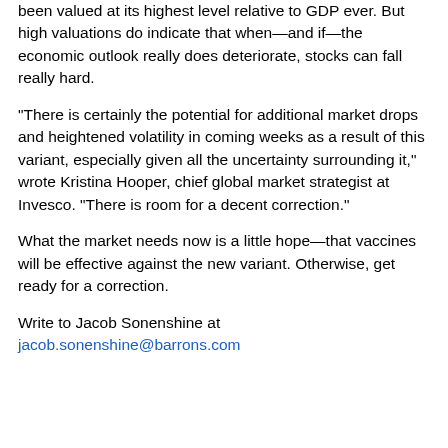been valued at its highest level relative to GDP ever. But high valuations do indicate that when—and if—the economic outlook really does deteriorate, stocks can fall really hard.
“There is certainly the potential for additional market drops and heightened volatility in coming weeks as a result of this variant, especially given all the uncertainty surrounding it,” wrote Kristina Hooper, chief global market strategist at Invesco. “There is room for a decent correction.”
What the market needs now is a little hope—that vaccines will be effective against the new variant. Otherwise, get ready for a correction.
Write to Jacob Sonenshine at jacob.sonenshine@barrons.com